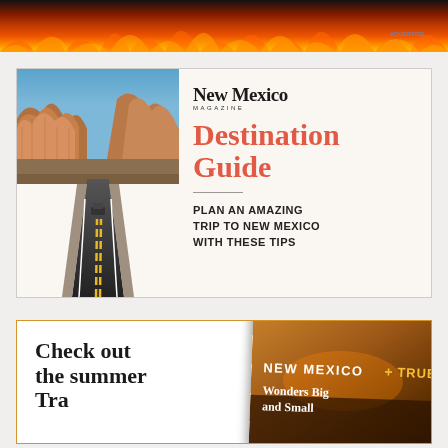[Figure (photo): Fire/flame banner at top of page with orange-red flames background]
[Figure (illustration): New Mexico Magazine Destination Guide advertisement. Left half shows a photo of a desert highway with red rock formations. Right half on cream background shows 'New Mexico Magazine' logo, 'Destination Guide' in large red serif font, a horizontal divider, and text 'PLAN AN AMAZING TRIP TO NEW MEXICO WITH THESE TIPS']
[Figure (photo): Bottom advertisement with orange border. Left side reads 'Check out the summer' in large bold serif font. Right side shows a tilted New Mexico Magazine cover titled 'NEW MEXICO + TRUE' with subheading 'Wonders Big and Small']